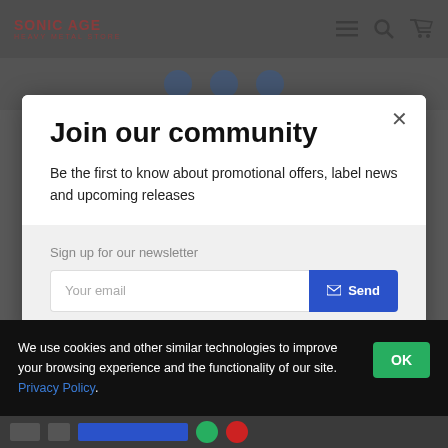Sonic Age Heavy Metal Store
Join our community
Be the first to know about promotional offers, label news and upcoming releases
Sign up for our newsletter
Your email
Send
We use cookies and other similar technologies to improve your browsing experience and the functionality of our site. Privacy Policy.